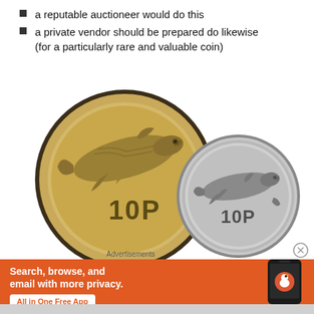a reputable auctioneer would do this
a private vendor should be prepared do likewise (for a particularly rare and valuable coin)
[Figure (photo): Two Irish 10p coins showing salmon design — one large gold-toned coin on the left and one smaller silver-toned coin on the right, both showing '10P' denomination with a leaping salmon motif.]
Advertisements
[Figure (infographic): DuckDuckGo advertisement banner with orange background. Text reads 'Search, browse, and email with more privacy. All in One Free App' with DuckDuckGo logo and phone image.]